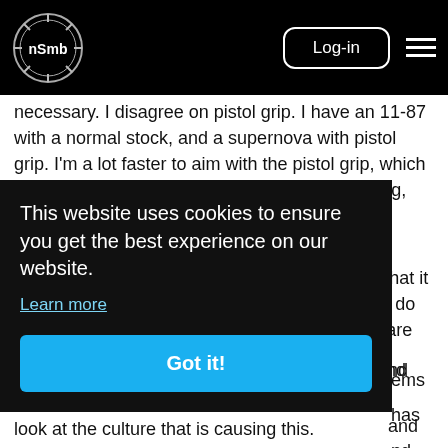nSmb logo | Log-in | Menu
necessary. I disagree on pistol grip. I have an 11-87 with a normal stock, and a supernova with pistol grip. I'm a lot faster to aim with the pistol grip, which when trap shooting, turkey hunting, duck hunting, etc is important.
What I disagree most in this ban is that their definition of what makes a gun more deadly is that it is based on cosmetic features. It has nothing to do with the function of the gun itself. Second, you are
nd
and
-ems has nd we
look at the culture that is causing this.
This website uses cookies to ensure you get the best experience on our website.
Learn more
Got it!